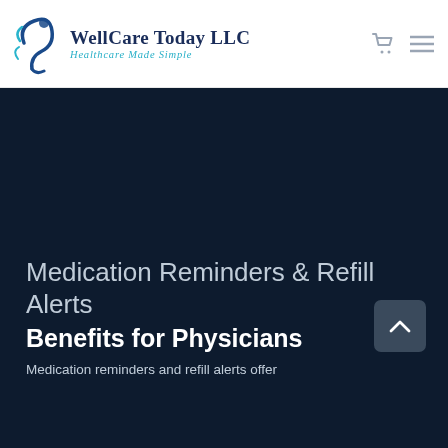[Figure (logo): WellCare Today LLC logo with a stylized blue figure and the text 'WellCare Today LLC' with tagline 'Healthcare Made Simple']
WellCare Today LLC — Healthcare Made Simple
[Figure (screenshot): Dark navy background hero section of website]
Medication Reminders & Refill Alerts
Benefits for Physicians
Medication reminders and refill alerts offer